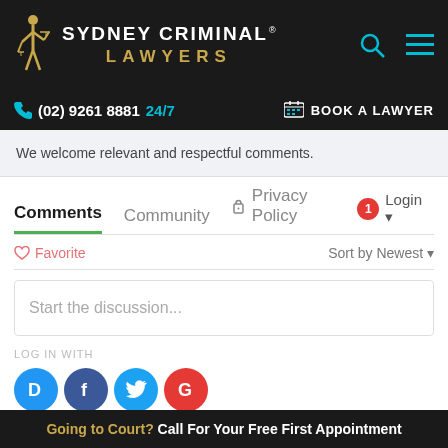[Figure (logo): Sydney Criminal Lawyers logo with gold figure and text on dark background]
(02) 9261 8881 24/7   BOOK A LAWYER
We welcome relevant and respectful comments.
Comments  Community  Privacy Policy
Login
Favorite   Sort by Newest
Start the discussion...
LOG IN WITH
Going to Court? Call For Your Free First Appointment